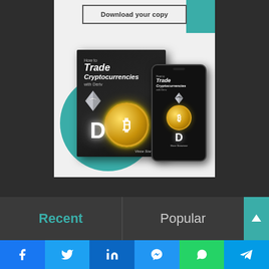[Figure (illustration): Download your copy button at top, book cover titled 'How to Trade Cryptocurrencies with Deriv' by Vince Stanzione shown as physical book and phone mockup, with teal decorative circle and rectangle in background]
Download your copy
Recent
Popular
[Figure (infographic): Social sharing bar with Facebook, Twitter, LinkedIn, Messenger, WhatsApp, Telegram icons]